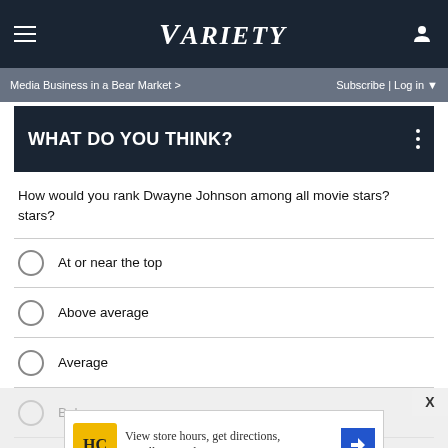VARIETY — Media Business in a Bear Market > | Subscribe | Log in
WHAT DO YOU THINK?
How would you rank Dwayne Johnson among all movie stars?
At or near the top
Above average
Average
Below average
Other / No opinion
[Figure (infographic): Advertisement banner with HC logo, text 'View store hours, get directions, or call your salon!' and a blue navigation arrow icon]